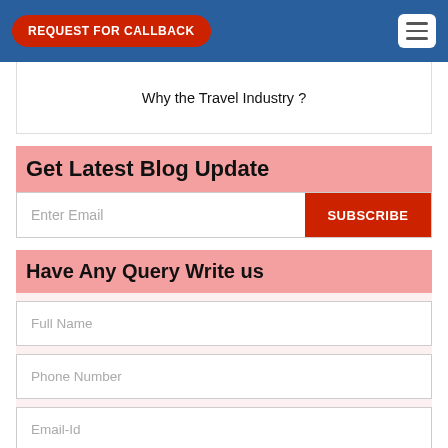REQUEST FOR CALLBACK
Why the Travel Industry ?
Get Latest Blog Update
Enter Email
SUBSCRIBE
Have Any Query Write us
Full Name
Phone Number
Email-Id